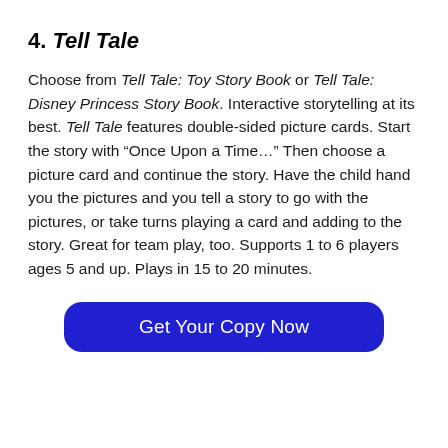4. Tell Tale
Choose from Tell Tale: Toy Story Book or Tell Tale: Disney Princess Story Book. Interactive storytelling at its best. Tell Tale features double-sided picture cards. Start the story with “Once Upon a Time…” Then choose a picture card and continue the story. Have the child hand you the pictures and you tell a story to go with the pictures, or take turns playing a card and adding to the story. Great for team play, too. Supports 1 to 6 players ages 5 and up. Plays in 15 to 20 minutes.
[Figure (other): Blue rounded rectangle button with white text reading 'Get Your Copy Now']